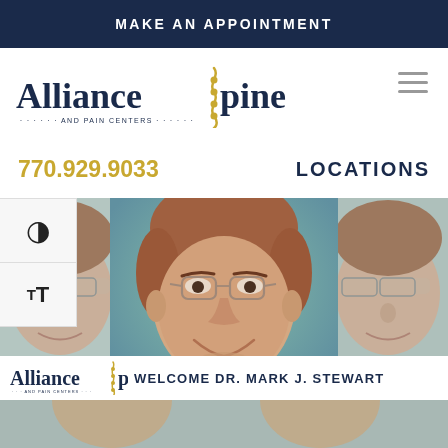MAKE AN APPOINTMENT
[Figure (logo): Alliance Spine and Pain Centers logo with spine graphic]
770.929.9033
LOCATIONS
[Figure (photo): Professional headshot of Dr. Mark J. Stewart, a middle-aged man with glasses and reddish-brown hair, shown three times (center focus and mirrored sides)]
Alliance Spine WELCOME DR. MARK J. STEWART